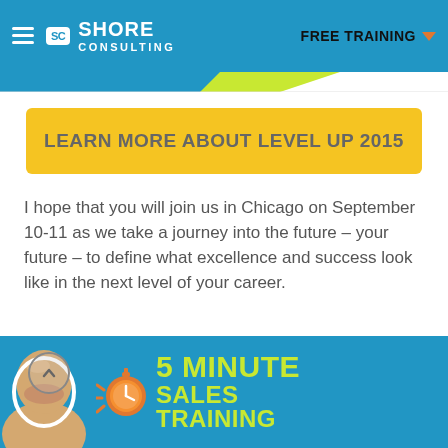SC SHORE CONSULTING | FREE TRAINING
LEARN MORE ABOUT LEVEL UP 2015
I hope that you will join us in Chicago on September 10-11 as we take a journey into the future – your future – to define what excellence and success look like in the next level of your career.
Change your paradigm ...and change your world!
[Figure (infographic): Banner with a man smiling, an orange stopwatch icon, and yellow-green text reading '5 MINUTE SALES TRAINING' on a blue background]